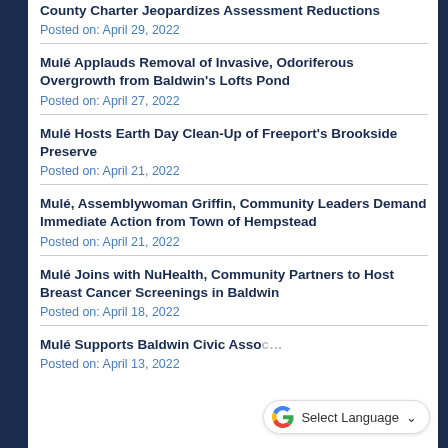County Charter Jeopardizes Assessment Reductions
Posted on: April 29, 2022
Mulé Applauds Removal of Invasive, Odoriferous Overgrowth from Baldwin's Lofts Pond
Posted on: April 27, 2022
Mulé Hosts Earth Day Clean-Up of Freeport's Brookside Preserve
Posted on: April 21, 2022
Mulé, Assemblywoman Griffin, Community Leaders Demand Immediate Action from Town of Hempstead
Posted on: April 21, 2022
Mulé Joins with NuHealth, Community Partners to Host Breast Cancer Screenings in Baldwin
Posted on: April 18, 2022
Mulé Supports Baldwin Civic Asso…
Posted on: April 13, 2022